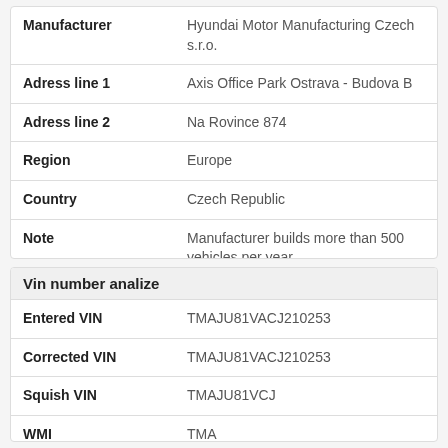| Field | Value |
| --- | --- |
| Manufacturer | Hyundai Motor Manufacturing Czech s.r.o. |
| Adress line 1 | Axis Office Park Ostrava - Budova B |
| Adress line 2 | Na Rovince 874 |
| Region | Europe |
| Country | Czech Republic |
| Note | Manufacturer builds more than 500 vehicles per year |
Vin number analize
| Field | Value |
| --- | --- |
| Entered VIN | TMAJU81VACJ210253 |
| Corrected VIN | TMAJU81VACJ210253 |
| Squish VIN | TMAJU81VCJ |
| WMI | TMA |